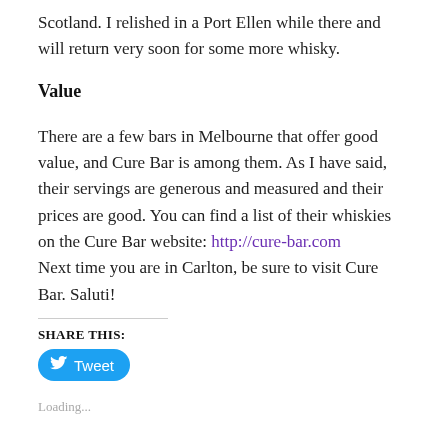Scotland. I relished in a Port Ellen while there and will return very soon for some more whisky.
Value
There are a few bars in Melbourne that offer good value, and Cure Bar is among them. As I have said, their servings are generous and measured and their prices are good. You can find a list of their whiskies on the Cure Bar website: http://cure-bar.com
Next time you are in Carlton, be sure to visit Cure Bar. Saluti!
SHARE THIS:
[Figure (other): Tweet button with Twitter bird icon]
Loading...